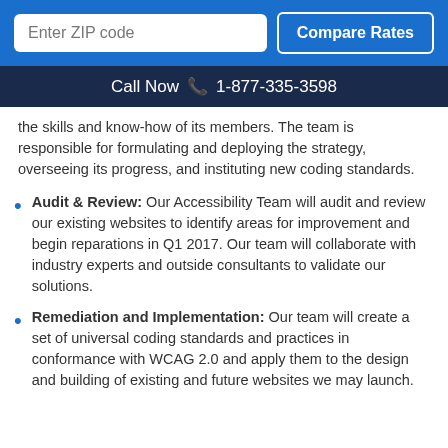[Figure (screenshot): Blue bar with Enter ZIP code input field and Compare Rates button]
Call Now  1-877-335-3598
the skills and know-how of its members. The team is responsible for formulating and deploying the strategy, overseeing its progress, and instituting new coding standards.
Audit & Review: Our Accessibility Team will audit and review our existing websites to identify areas for improvement and begin reparations in Q1 2017. Our team will collaborate with industry experts and outside consultants to validate our solutions.
Remediation and Implementation: Our team will create a set of universal coding standards and practices in conformance with WCAG 2.0 and apply them to the design and building of existing and future websites we may launch.